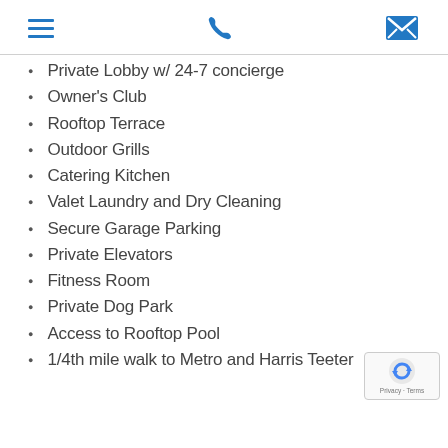[hamburger menu icon] [phone icon] [email icon]
Private Lobby w/ 24-7 concierge
Owner's Club
Rooftop Terrace
Outdoor Grills
Catering Kitchen
Valet Laundry and Dry Cleaning
Secure Garage Parking
Private Elevators
Fitness Room
Private Dog Park
Access to Rooftop Pool
1/4th mile walk to Metro and Harris Teeter